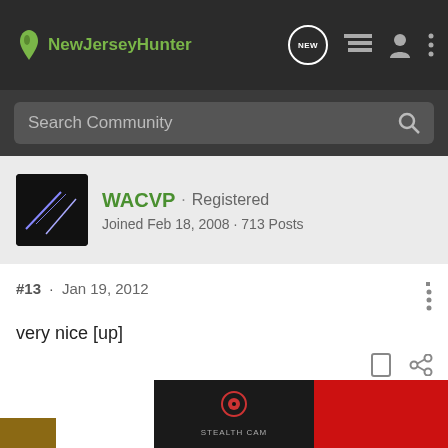NewJerseyHunter
Search Community
WACVP · Registered
Joined Feb 18, 2008 · 713 Posts
#13 · Jan 19, 2012
very nice [up]
[Figure (screenshot): DS4K TRANSMIT STEALTH CAM CELLULAR TRAIL CAMERA advertisement banner]